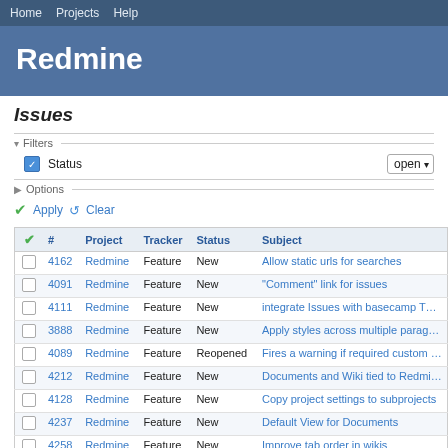Home  Projects  Help
Redmine
Issues
▾ Filters  Status  open
▶ Options
✔ Apply  ↺ Clear
| ✔ | # | Project | Tracker | Status | Subject |
| --- | --- | --- | --- | --- | --- |
| ☐ | 4162 | Redmine | Feature | New | Allow static urls for searches |
| ☐ | 4091 | Redmine | Feature | New | "Comment" link for issues |
| ☐ | 4111 | Redmine | Feature | New | integrate Issues with basecamp TODO |
| ☐ | 3888 | Redmine | Feature | New | Apply styles across multiple paragraphs |
| ☐ | 4089 | Redmine | Feature | Reopened | Fires a warning if required custom fields e... when migrating |
| ☐ | 4212 | Redmine | Feature | New | Documents and Wiki tied to Redmine Vers... |
| ☐ | 4128 | Redmine | Feature | New | Copy project settings to subprojects |
| ☐ | 4237 | Redmine | Feature | New | Default View for Documents |
| ☐ | 4258 | Redmine | Feature | New | Improve tab order in wikis |
| ☐ | 3497 | Redmine | Feature | New | "duplicates" relation invalidates roadmap |